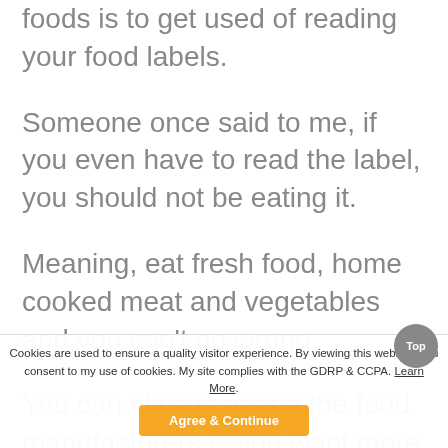foods is to get used of reading your food labels.
Someone once said to me, if you even have to read the label, you should not be eating it.
Meaning, eat fresh food, home cooked meat and vegetables and you can't go wrong.
You can always phone the food manufacturers is you want more information on the product.
Cross contamination can be important. This means that a knife used to cut normal bread should not be used without a thorough wash with hot soap and water, before cutting you gluten free
Cookies are used to ensure a quality visitor experience. By viewing this website, you consent to my use of cookies. My site complies with the GDRP & CCPA. Learn More. Agree & Continue